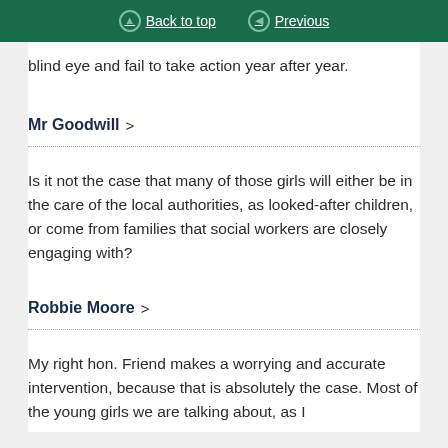Back to top | Previous
blind eye and fail to take action year after year.
Mr Goodwill
Is it not the case that many of those girls will either be in the care of the local authorities, as looked-after children, or come from families that social workers are closely engaging with?
Robbie Moore
My right hon. Friend makes a worrying and accurate intervention, because that is absolutely the case. Most of the young girls we are talking about, as I